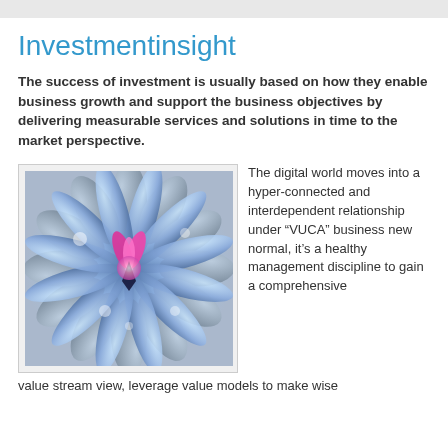Investmentinsight
The success of investment is usually based on how they enable business growth and support the business objectives by delivering measurable services and solutions in time to the market perspective.
[Figure (illustration): Abstract fractal artwork featuring swirling blue and grey petals or feather-like forms radiating outward from a central pink/magenta flower-like core on a blue-tinted background.]
The digital world moves into a hyper-connected and interdependent relationship under “VUCA” business new normal, it’s a healthy management discipline to gain a comprehensive value stream view, leverage value models to make wise